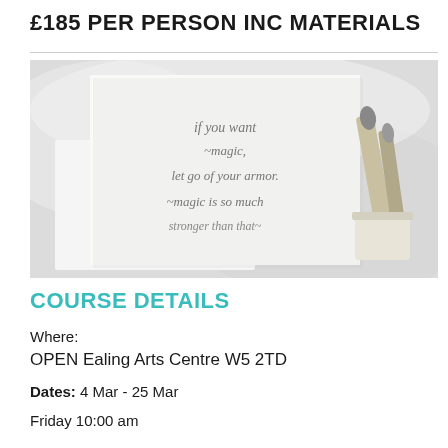£185 PER PERSON INC MATERIALS
[Figure (photo): Photo of calligraphy cards with handwritten cursive quote 'if you want magic, let go of your armor. magic is so much stronger than that.' alongside calligraphy pens on a light grey background.]
COURSE DETAILS
Where:
OPEN Ealing Arts Centre W5 2TD
Dates: 4 Mar - 25 Mar
Friday 10:00 am